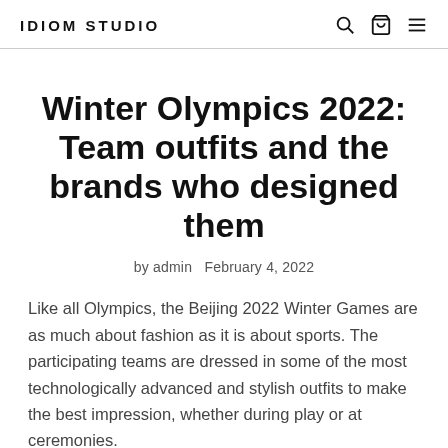IDIOM STUDIO
Winter Olympics 2022: Team outfits and the brands who designed them
by admin  February 4, 2022
Like all Olympics, the Beijing 2022 Winter Games are as much about fashion as it is about sports. The participating teams are dressed in some of the most technologically advanced and stylish outfits to make the best impression, whether during play or at ceremonies.